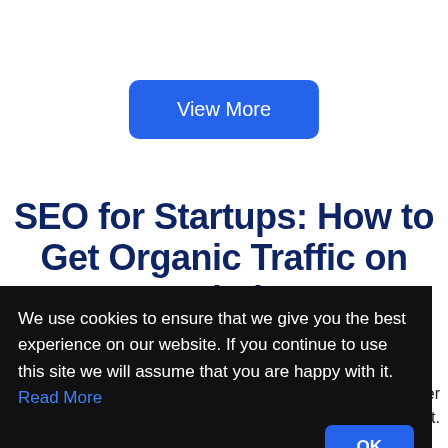[Figure (other): Blue rounded rectangle button labeled 'View More']
SEO for Startups: How to Get Organic Traffic on Your Website Fast
We use cookies to ensure that we give you the best experience on our website. If you continue to use this site we will assume that you are happy with it. Read More
whether
ot.